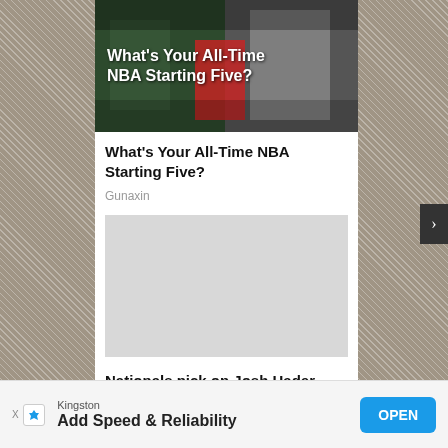[Figure (photo): NBA basketball collage image with text overlay reading 'What's Your All-Time NBA Starting Five?' showing basketball players]
What's Your All-Time NBA Starting Five?
Gunaxin
[Figure (photo): Gray placeholder image for an article]
Nationals pick on Josh Hader, down Padres again
Kingston
Add Speed & Reliability
OPEN